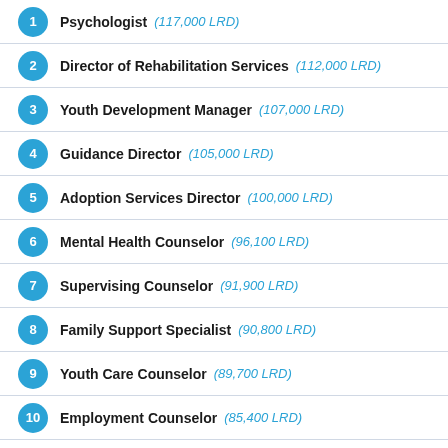1 Psychologist (117,000 LRD)
2 Director of Rehabilitation Services (112,000 LRD)
3 Youth Development Manager (107,000 LRD)
4 Guidance Director (105,000 LRD)
5 Adoption Services Director (100,000 LRD)
6 Mental Health Counselor (96,100 LRD)
7 Supervising Counselor (91,900 LRD)
8 Family Support Specialist (90,800 LRD)
9 Youth Care Counselor (89,700 LRD)
10 Employment Counselor (85,400 LRD)